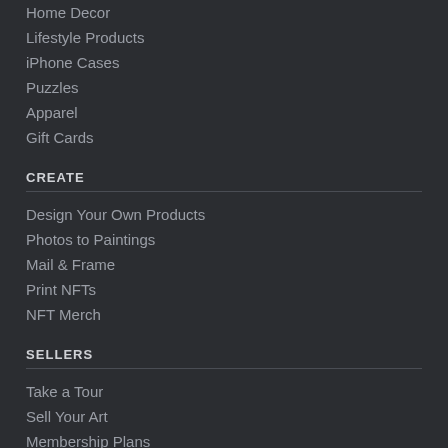Home Decor
Lifestyle Products
iPhone Cases
Puzzles
Apparel
Gift Cards
CREATE
Design Your Own Products
Photos to Paintings
Mail & Frame
Print NFTs
NFT Merch
SELLERS
Take a Tour
Sell Your Art
Membership Plans
Mobile App (iOS and Android)
Shopify App